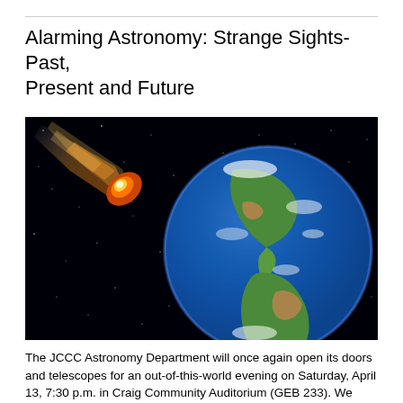Alarming Astronomy: Strange Sights-Past, Present and Future
[Figure (photo): A dramatic space scene showing a flaming meteor/asteroid approaching Earth from the left side. The Earth is visible on the right half of the image, showing the Americas and cloud formations, against a dark starfield background.]
The JCCC Astronomy Department will once again open its doors and telescopes for an out-of-this-world evening on Saturday, April 13, 7:30 p.m. in Craig Community Auditorium (GEB 233). We welcome guest speaker Jay Manifold of the Astronomical Society of Kansas City